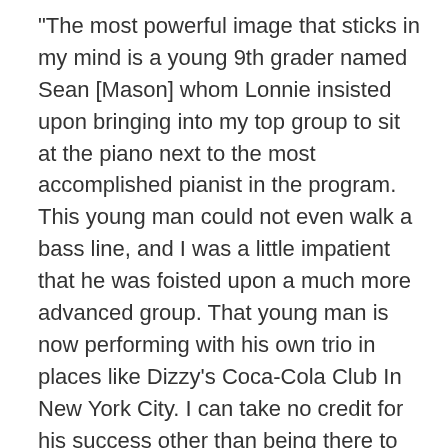“The most powerful image that sticks in my mind is a young 9th grader named Sean [Mason] whom Lonnie insisted upon bringing into my top group to sit at the piano next to the most accomplished pianist in the program. This young man could not even walk a bass line, and I was a little impatient that he was foisted upon a much more advanced group. That young man is now performing with his own trio in places like Dizzy’s Coca-Cola Club In New York City. I can take no credit for his success other than being there to give him a chance. That is the beauty of it.” (You can read more about Sean Mason here.)
Conn describes his experience at JazzArts Camp a few years ago. “I had a wonky group that year – a trumpet, some violins, a hodgepodge of instruments you never would have put together. They came into it,